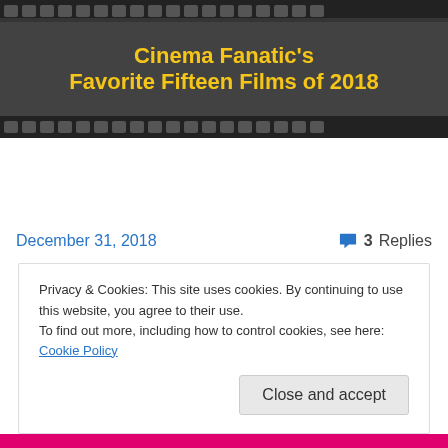[Figure (photo): Film strip banner image showing 'Cinema Fanatic's Favorite Fifteen Films of 2018' in yellow bold text on a dark film-reel background with film strip perforations at top and bottom]
Continue reading →
December 31, 2018    💬 3 Replies
Privacy & Cookies: This site uses cookies. By continuing to use this website, you agree to their use.
To find out more, including how to control cookies, see here: Cookie Policy
Close and accept